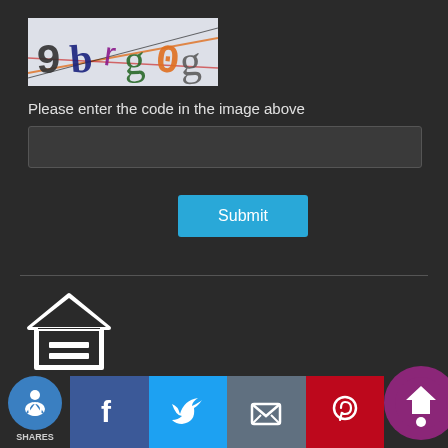[Figure (screenshot): CAPTCHA image showing distorted characters: 9brg0g on a light background with colored diagonal lines]
Please enter the code in the image above
[Figure (other): Text input box for CAPTCHA entry]
[Figure (other): Submit button in blue]
[Figure (logo): Equal Housing Opportunity logo - house outline with equals sign]
EQUAL HOUSING OPPORTUNITY
Copyright © Petra Mortgage, Etrafficers, Inc and its licensors. All rights reserved.
Mortgage Websites designed and powered by Etrafficers, Inc
[Figure (other): Social sharing bar with accessibility icon, SHARES label, Facebook, Twitter, Email, Pinterest, and branded logo buttons]